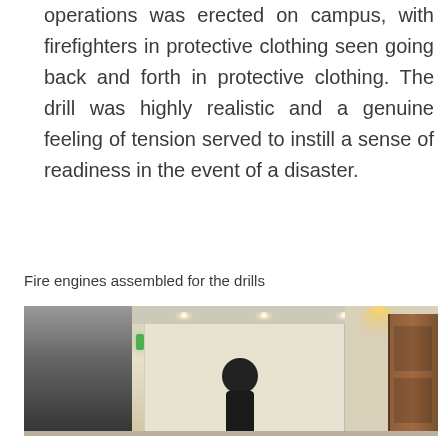operations was erected on campus, with firefighters in protective clothing seen going back and forth in protective clothing. The drill was highly realistic and a genuine feeling of tension served to instill a sense of readiness in the event of a disaster.
Fire engines assembled for the drills
[Figure (photo): Interior photo showing a lobby or corridor with recessed ceiling lights, a dark panel on the left, a green exit sign light, a figure in dark clothing, warm-lit walls, a wooden door on the right, and warm accent lighting.]